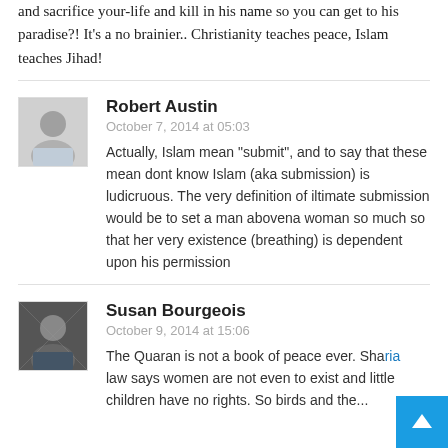and sacrifice your-life and kill in his name so you can get to his paradise?! It's a no brainier.. Christianity teaches peace, Islam teaches Jihad!
Robert Austin
October 7, 2014 at 05:03
Actually, Islam mean "submit", and to say that these mean dont know Islam (aka submission) is ludicruous. The very definition of iltimate submission would be to set a man abovena woman so much so that her very existence (breathing) is dependent upon his permission
Susan Bourgeois
October 9, 2014 at 15:06
The Quaran is not a book of peace ever. Sharia law says women are not even to exist and little children have no rights. So birds and the...